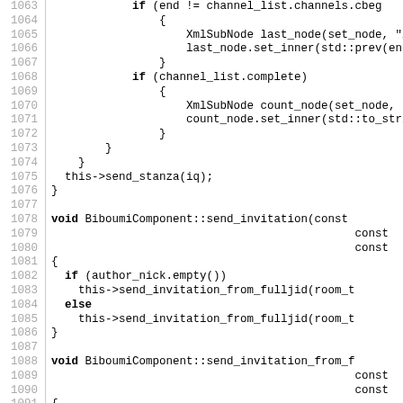[Figure (screenshot): Source code listing in C++ showing lines 1063-1092, displaying methods for BiboumiComponent including send_invitation and send_invitation_from_fulljid functions with XML node manipulation code.]